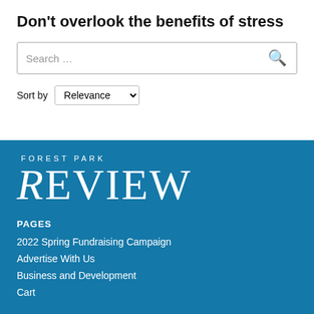Don't overlook the benefits of stress
Search …
Sort by Relevance
[Figure (logo): Forest Park Review logo in white text on blue background. 'FOREST PARK' in small caps above large serif 'REVIEW' text.]
PAGES
2022 Spring Fundraising Campaign
Advertise With Us
Business and Development
Cart